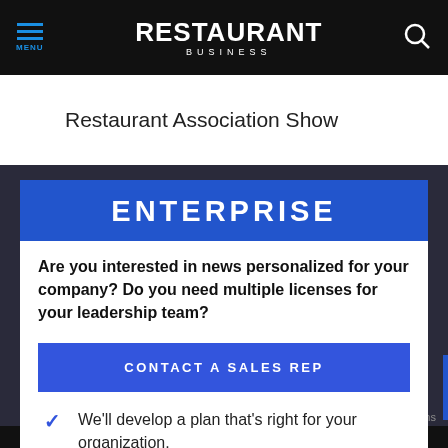MENU | RESTAURANT BUSINESS
Restaurant Association Show
ENTERPRISE
Are you interested in news personalized for your company? Do you need multiple licenses for your leadership team?
CONTACT A SALES REP
We'll develop a plan that's right for your organization.